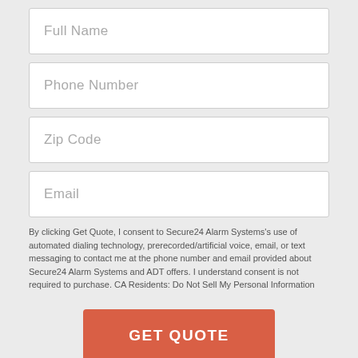Full Name
Phone Number
Zip Code
Email
By clicking Get Quote, I consent to Secure24 Alarm Systems's use of automated dialing technology, prerecorded/artificial voice, email, or text messaging to contact me at the phone number and email provided about Secure24 Alarm Systems and ADT offers. I understand consent is not required to purchase. CA Residents: Do Not Sell My Personal Information
GET QUOTE
Saratoga Springs Home